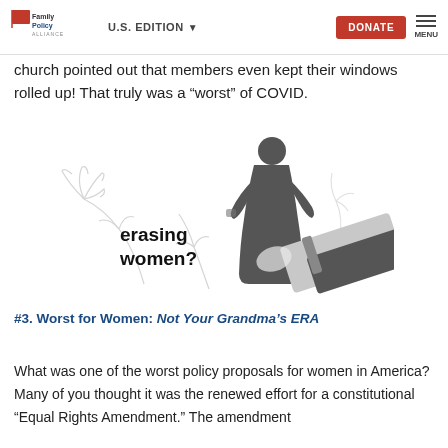Family Policy Alliance | U.S. EDITION | DONATE | MENU
church pointed out that members even kept their windows rolled up! That truly was a “worst” of COVID.
[Figure (illustration): Illustration showing a female silhouette figure being erased by a large pencil eraser, with wilting flowers in the background. Text reads 'erasing women?']
#3. Worst for Women: Not Your Grandma’s ERA
What was one of the worst policy proposals for women in America? Many of you thought it was the renewed effort for a constitutional “Equal Rights Amendment.” The amendment